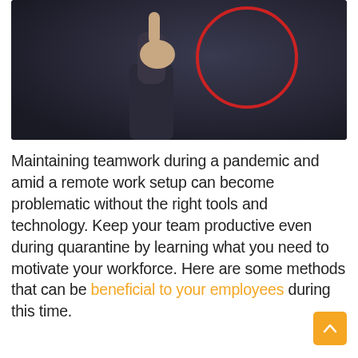[Figure (photo): A person's hand pointing upward at glowing white person/user icons arranged in a grid on a dark background. A red circle highlights a group of icons in the center-right area of the image.]
Maintaining teamwork during a pandemic and amid a remote work setup can become problematic without the right tools and technology. Keep your team productive even during quarantine by learning what you need to motivate your workforce. Here are some methods that can be beneficial to your employees during this time.